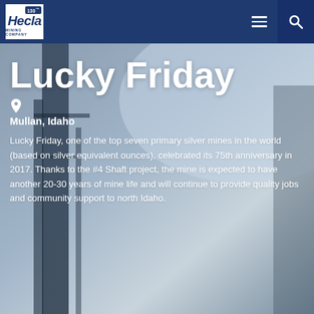[Figure (logo): Hecla Mining Company logo with 130th anniversary badge, white box with dark blue text on dark blue header bar]
[Figure (photo): Background photo of industrial mining structure/building exterior against sky, blue-grey tones]
Lucky Friday
Mullan, Idaho
Lucky Friday, one of the top seven primary silver mines in the world (based on silver equivalent ounces), celebrated its 75th anniversary in 2017. Thanks to the #4 Shaft project, the mine is expected to have another 20-30 years of mine life and will continue to provide quality jobs and community support to north Idaho.